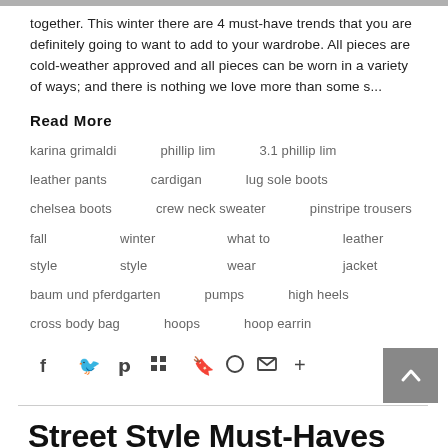together. This winter there are 4 must-have trends that you are definitely going to want to add to your wardrobe. All pieces are cold-weather approved and all pieces can be worn in a variety of ways; and there is nothing we love more than some s...
Read More
karina grimaldi
phillip lim
3.1 phillip lim
leather pants
cardigan
lug sole boots
chelsea boots
crew neck sweater
pinstripe trousers
fall style
winter style
what to wear
leather jacket
baum und pferdgarten
pumps
high heels
cross body bag
hoops
hoop earrin
Street Style Must-Haves